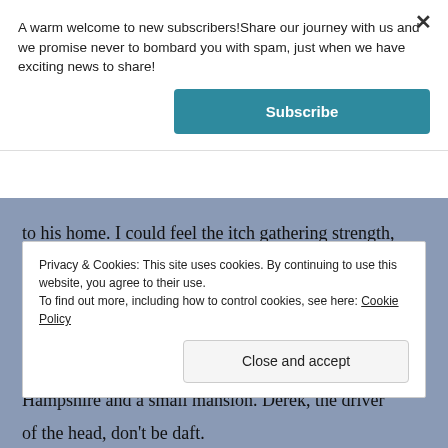A warm welcome to new subscribers!Share our journey with us and we promise never to bombard you with spam, just when we have exciting news to share!
Subscribe
to his home. I could feel the itch gathering strength, even so, I said yes. Lunch was great, he knew how to make me feel relaxed.
I had agreed. The drive took two and half hours to Hampshire and a small mansion. Derek, the driver
Privacy & Cookies: This site uses cookies. By continuing to use this website, you agree to their use.
To find out more, including how to control cookies, see here: Cookie Policy
Close and accept
of the head, don't be daft.